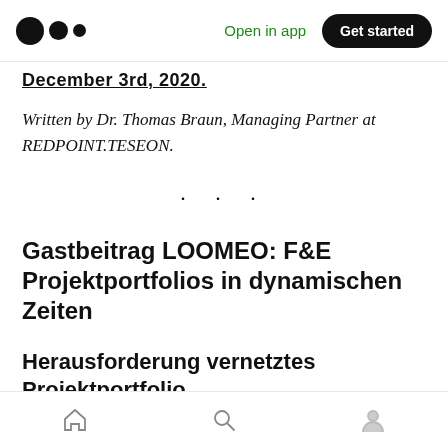Open in app | Get started
December 3rd, 2020.
Written by Dr. Thomas Braun, Managing Partner at REDPOINT.TESEON.
· · ·
Gastbeitrag LOOMEO: F&E Projektportfolios in dynamischen Zeiten
Herausforderung vernetztes Projektportfolio
Auch in ruhigen Zeiten — wenn es diese
Home | Search | Profile